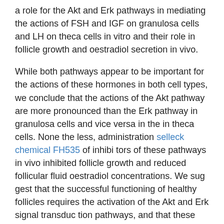a role for the Akt and Erk pathways in mediating the actions of FSH and IGF on granulosa cells and LH on theca cells in vitro and their role in follicle growth and oestradiol secretion in vivo.
While both pathways appear to be important for the actions of these hormones in both cell types, we conclude that the actions of the Akt pathway are more pronounced than the Erk pathway in granulosa cells and vice versa in the in theca cells. None the less, administration selleck chemical FH535 of inhibitors of these pathways in vivo inhibited follicle growth and reduced follicular fluid oestradiol concentrations. We sug gest that the successful functioning of healthy follicles requires the activation of the Akt and Erk signal transduc tion pathways, and that these pathways are necessary for ovarian follicle growth and development. Background The principal function of ovarian theca cells is steroid hor mone production. Theca cells play an important role in controlling ovarian steroidogenesis by providing aroma tizable androgens for granulosa cell estrogen biosynthesis.